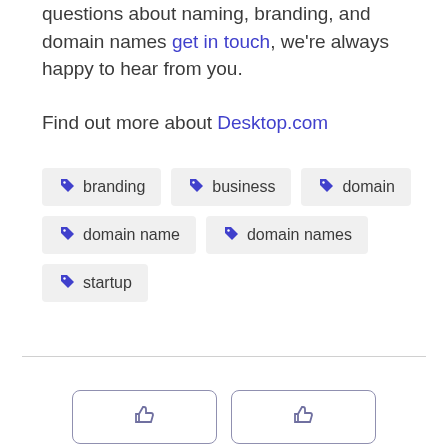questions about naming, branding, and domain names get in touch, we're always happy to hear from you.
Find out more about Desktop.com
branding
business
domain
domain name
domain names
startup